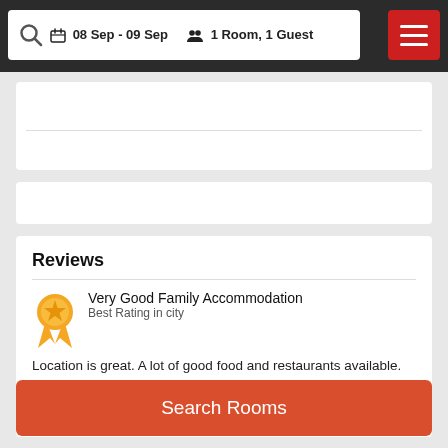08 Sep - 09 Sep  1 Room, 1 Guest
Reviews
Very Good Family Accommodation
Best Rating in city
Location is great. A lot of good food and restaurants available. Mall of Emirate..
SHOW ALL REVIEWS
Search Rooms